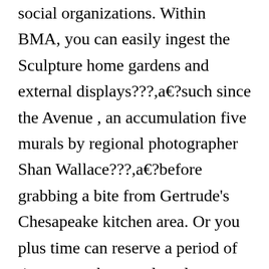social organizations. Within BMA, you can easily ingest the Sculpture home gardens and external displays???,a€?such since the Avenue , an accumulation five murals by regional photographer Shan Wallace???,a€?before grabbing a bite from Gertrude's Chesapeake kitchen area. Or you plus time can reserve a period of time to mask up-and explore indoor presentations like Stephanie Syjuco: Vanishing Point (Overlay) and Adelyn Breeskin: Curating a Legacy . At AVAM in Federal mountain, seize your partner and loosen the brains by checking out The technology and puzzle of rest . The series in the Reginald F. Lewis art gallery may a must-see, exhibiting a lot more than 400 years of African American records through the lens of market, leisure, activities, news, the arts, plus. Learn more about neighborhood museums to consult with